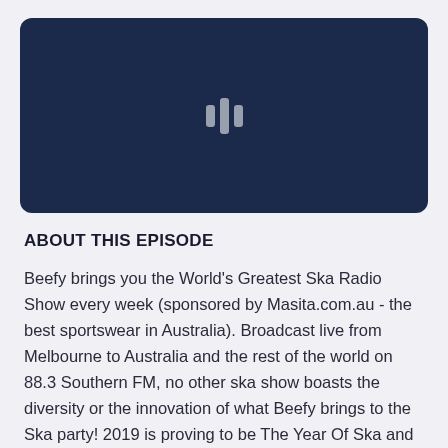[Figure (other): Dark navy blue podcast player/image thumbnail with a white waveform/audio bars icon centered in the middle]
ABOUT THIS EPISODE
Beefy brings you the World's Greatest Ska Radio Show every week (sponsored by Masita.com.au - the best sportswear in Australia). Broadcast live from Melbourne to Australia and the rest of the world on 88.3 Southern FM, no other ska show boasts the diversity or the innovation of what Beefy brings to the Ska party! 2019 is proving to be The Year Of Ska and it's up to the Big Beef Man to make sure it stays that way! As normal we jam as much in as possible. The King Blues headline the show with an incredible live set, and we have Wes S